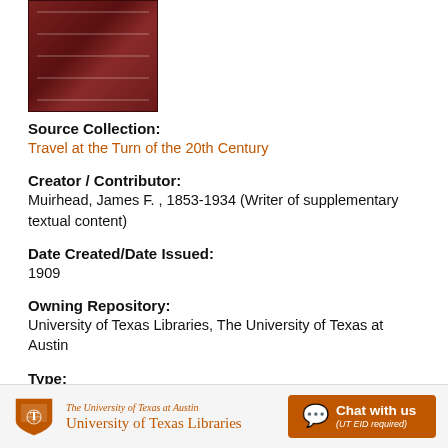[Figure (photo): Dark red/maroon book cover photographed from above]
Source Collection:
Travel at the Turn of the 20th Century
Creator / Contributor:
Muirhead, James F. , 1853-1934 (Writer of supplementary textual content)
Date Created/Date Issued:
1909
Owning Repository:
University of Texas Libraries, The University of Texas at Austin
Type:
The University of Texas at Austin University of Texas Libraries | Chat with us (UT EID required)